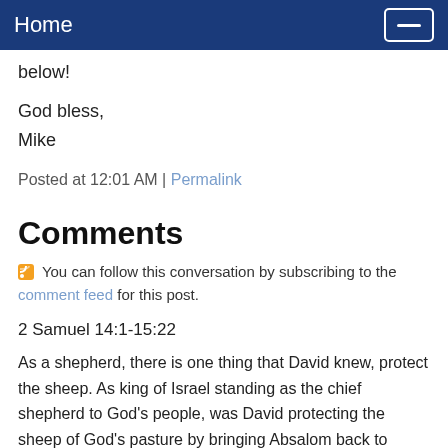Home
below!
God bless,
Mike
Posted at 12:01 AM | Permalink
Comments
You can follow this conversation by subscribing to the comment feed for this post.
2 Samuel 14:1-15:22
As a shepherd, there is one thing that David knew, protect the sheep. As king of Israel standing as the chief shepherd to God's people, was David protecting the sheep of God's pasture by bringing Absalom back to Jerusalem? Mike, I am going in the opposite direction that you have taken regarding the restoration of Absalom. And my premise is this: You cannot make peace with